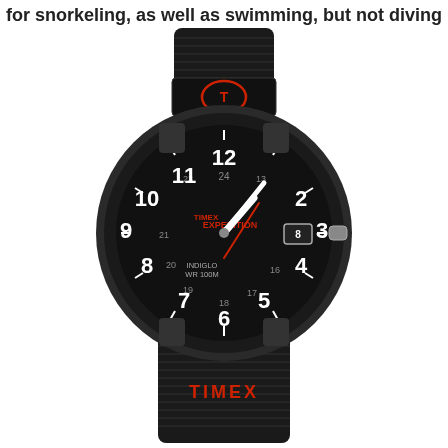for snorkeling, as well as swimming, but not diving
[Figure (photo): Timex Expedition watch with black nylon strap, black case, black dial showing analog hour/minute/second hands, numbers 1-12, inner 24-hour markings, date window at 3 o'clock, TIMEX EXPEDITION branding in red, INDIGLO WR 100M text, red Timex logo on strap keeper, and TIMEX text in red on lower strap.]